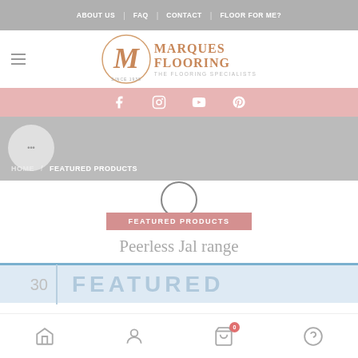ABOUT US | FAQ | CONTACT | FLOOR FOR ME?
[Figure (logo): Marques Flooring - The Flooring Specialists logo with decorative M monogram]
[Figure (infographic): Social media icons: Facebook, Instagram, YouTube, Pinterest on pink background]
[Figure (infographic): Gray hero area with circular icon and three dots, breadcrumb: HOME / FEATURED PRODUCTS]
FEATURED PRODUCTS
Peerless Jal range
[Figure (infographic): FEATURED banner with number 30 and FEATURED text in large blue letters]
Home | Account | Cart (0) | Help